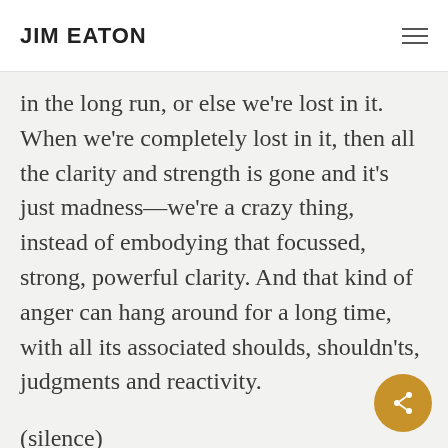JIM EATON
in the long run, or else we're lost in it. When we're completely lost in it, then all the clarity and strength is gone and it's just madness—we're a crazy thing, instead of embodying that focussed, strong, powerful clarity. And that kind of anger can hang around for a long time, with all its associated shoulds, shouldn'ts, judgments and reactivity.
(silence)